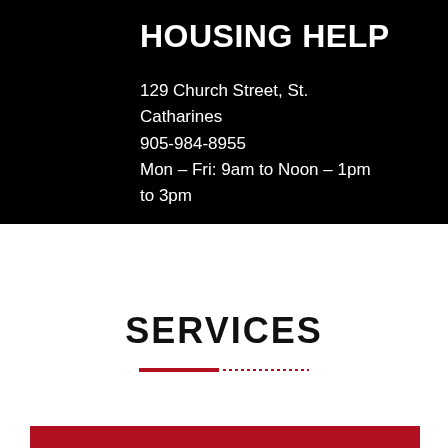HOUSING HELP
129 Church Street, St. Catharines
905-984-8955
Mon – Fri: 9am to Noon – 1pm to 3pm
SERVICES
[Figure (other): Decorative horizontal divider line with solid red left portion and dotted red right portion]